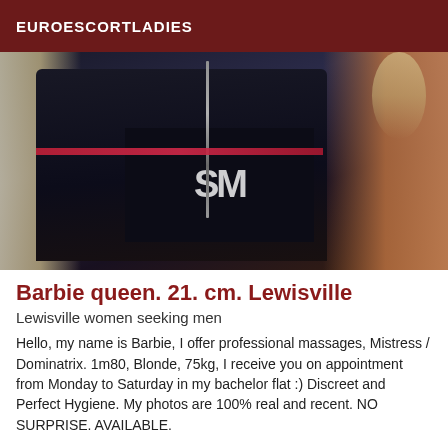EUROESCORTLADIES
[Figure (photo): Close-up photo of a person with long blonde hair wearing a dark leather jacket with a zipper and a dark shirt/top with graphic design, skin visible on right side]
Barbie queen. 21. cm. Lewisville
Lewisville women seeking men
Hello, my name is Barbie, I offer professional massages, Mistress / Dominatrix. 1m80, Blonde, 75kg, I receive you on appointment from Monday to Saturday in my bachelor flat :) Discreet and Perfect Hygiene. My photos are 100% real and recent. NO SURPRISE. AVAILABLE.